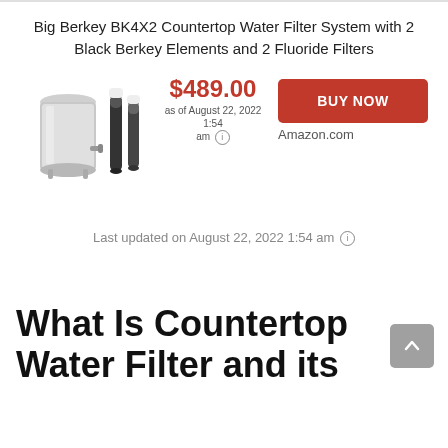Big Berkey BK4X2 Countertop Water Filter System with 2 Black Berkey Elements and 2 Fluoride Filters
$489.00 as of August 22, 2022 1:54 am
[Figure (photo): Product photo of Big Berkey water filter system with stainless steel canister and two black filter elements]
BUY NOW
Amazon.com
Last updated on August 22, 2022 1:54 am
What Is Countertop Water Filter and its